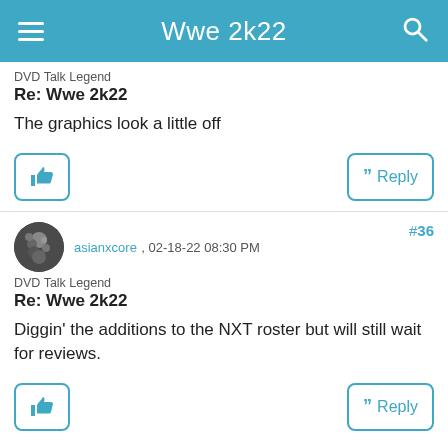Wwe 2k22
DVD Talk Legend
Re: Wwe 2k22
The graphics look a little off
asianxcore , 02-18-22 08:30 PM
DVD Talk Legend
Re: Wwe 2k22
Diggin' the additions to the NXT roster but will still wait for reviews.
#37